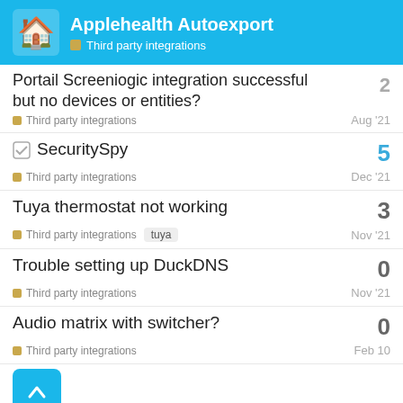Applehealth Autoexport — Third party integrations
Portail Screeniogic integration successful but no devices or entities? — Third party integrations — Aug '21 — 2
SecuritySpy — Third party integrations — Dec '21 — 5
Tuya thermostat not working — Third party integrations — tuya — Nov '21 — 3
Trouble setting up DuckDNS — Third party integrations — Nov '21 — 0
Audio matrix with switcher? — Third party integrations — Feb 10 — 0
Want to read more? Browse other topics in Third party integr... or view latest topics.